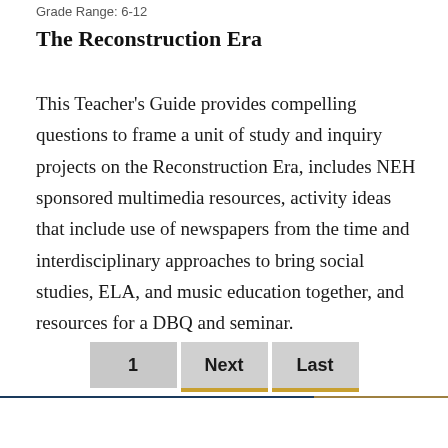Grade Range: 6-12
The Reconstruction Era
This Teacher's Guide provides compelling questions to frame a unit of study and inquiry projects on the Reconstruction Era, includes NEH sponsored multimedia resources, activity ideas that include use of newspapers from the time and interdisciplinary approaches to bring social studies, ELA, and music education together, and resources for a DBQ and seminar.
1  Next  Last